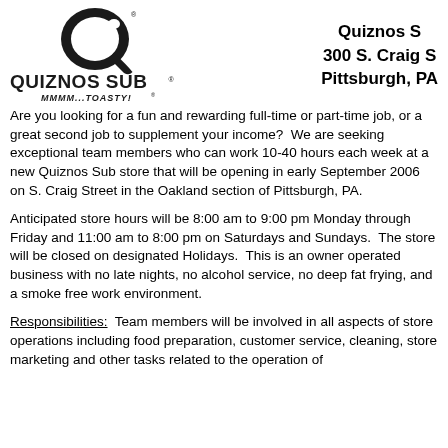[Figure (logo): Quiznos Sub logo with Q icon and MMMM...TOASTY! tagline]
Quiznos S
300 S. Craig S
Pittsburgh, PA
Are you looking for a fun and rewarding full-time or part-time job, or a great second job to supplement your income?  We are seeking exceptional team members who can work 10-40 hours each week at a new Quiznos Sub store that will be opening in early September 2006 on S. Craig Street in the Oakland section of Pittsburgh, PA.
Anticipated store hours will be 8:00 am to 9:00 pm Monday through Friday and 11:00 am to 8:00 pm on Saturdays and Sundays.  The store will be closed on designated Holidays.  This is an owner operated business with no late nights, no alcohol service, no deep fat frying, and a smoke free work environment.
Responsibilities:  Team members will be involved in all aspects of store operations including food preparation, customer service, cleaning, store marketing and other tasks related to the operation of